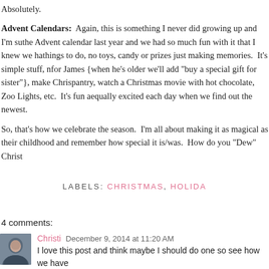Absolutely.
Advent Calendars: Again, this is something I never did growing up and I'm surprised the Advent calendar last year and we had so much fun with it that I knew we had to things to do, no toys, candy or prizes just making memories. It's simple stuff, for James {when he's older we'll add "buy a special gift for sister"}, make Christmas pantry, watch a Christmas movie with hot chocolate, Zoo Lights, etc. It's fun and equally excited each day when we find out the newest.
So, that's how we celebrate the season. I'm all about making it as magical as their childhood and remember how special it is/was. How do you "Dew" Christmas?
LABELS: CHRISTMAS, HOLIDA
4 comments:
Christi December 9, 2014 at 11:20 AM
I love this post and think maybe I should do one so see how we have are only 4, what they need, want, wear and read. Granted 1 book is